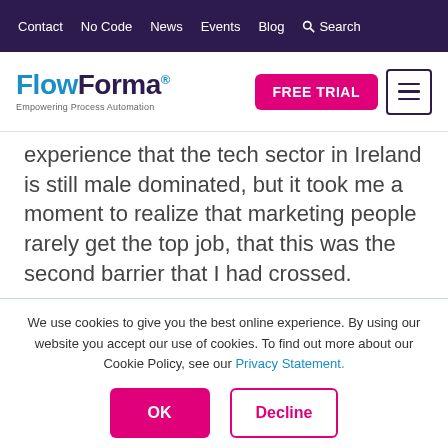Contact  No Code  News  Events  Blog  Search
[Figure (logo): FlowForma logo with tagline 'Empowering Process Automation', FREE TRIAL button, and hamburger menu icon]
experience that the tech sector in Ireland is still male dominated, but it took me a moment to realize that marketing people rarely get the top job, that this was the second barrier that I had crossed.
We use cookies to give you the best online experience. By using our website you accept our use of cookies. To find out more about our Cookie Policy, see our Privacy Statement.